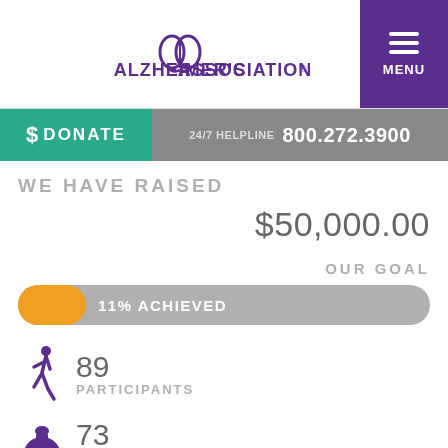[Figure (logo): Alzheimer's Association logo with brain icon]
MENU
$ DONATE
24/7 HELPLINE 800.272.3900
WE HAVE RAISED
$50,000.00
OUR GOAL
[Figure (infographic): Progress bar showing 11% achieved toward goal, orange fill on grey track]
89 PARTICIPANTS
73 NUMBER OF GIFTS